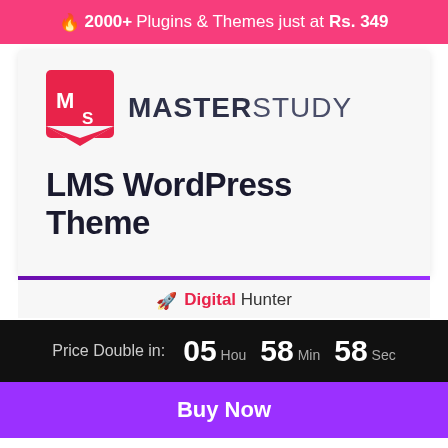🔥 2000+ Plugins & Themes just at Rs. 349
[Figure (logo): Masterstudy LMS WordPress Theme product card with MS logo and brand name]
Digital Hunter
Price Double in: 05 Hou 58 Min 58 Sec
Buy Now